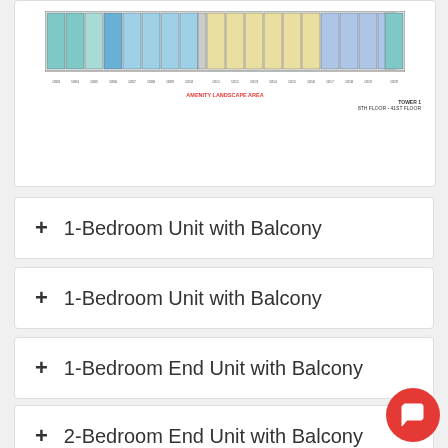[Figure (engineering-diagram): Floor plan layout diagram showing unit arrangements with colored units (teal/blue/yellow) across multiple floors, with unit number labels below and legend text. Caption reads 'AMENITY LANDSCAPE AREA' and 'TOWER 1 8TH FLOOR - 41ST FLOOR'.]
+ 1-Bedroom Unit with Balcony
+ 1-Bedroom Unit with Balcony
+ 1-Bedroom End Unit with Balcony
+ 2-Bedroom End Unit with Balcony